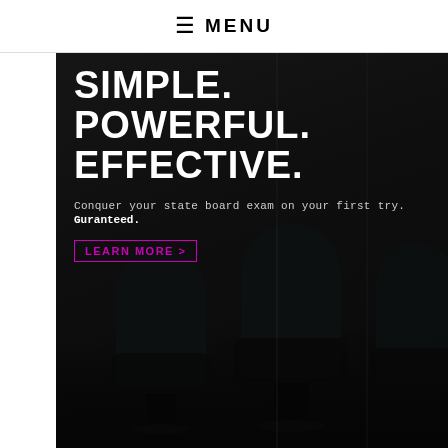≡ MENU
[Figure (photo): Dark salon interior with black styling chairs, overlaid with promotional text for a state board exam prep service]
SIMPLE. POWERFUL. EFFECTIVE.
Conquer your state board exam on your first try. Guranteed.
LEARN MORE >